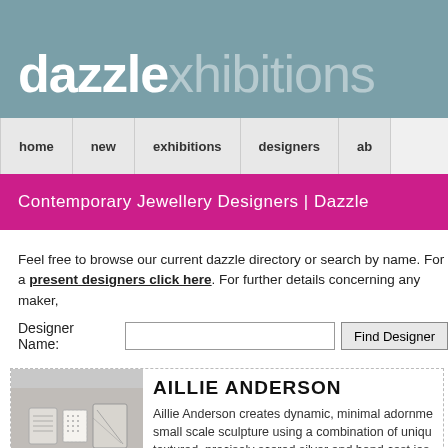dazzlexhibitions
home | new | exhibitions | designers | ab
Contemporary Jewellery Designers | Dazzle
Feel free to browse our current dazzle directory or search by name. For a present designers click here. For further details concerning any maker,
Designer Name: [input] Find Designer
AILLIE ANDERSON
Aillie Anderson creates dynamic, minimal adornments small scale sculpture using a combination of uniquely textured, precisely scored silver and hand cast jes forms. Born and based in Glasgow, Aillie draws in